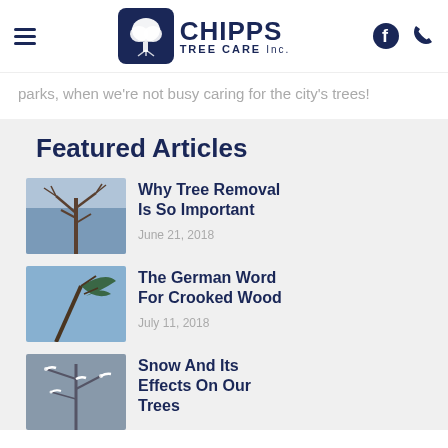Chipps Tree Care Inc.
parks, when we're not busy caring for the city's trees!
Featured Articles
[Figure (photo): Dead/bare tree against sky - thumbnail for 'Why Tree Removal Is So Important']
Why Tree Removal Is So Important
June 21, 2018
[Figure (photo): Tree bent by wind against blue sky - thumbnail for 'The German Word For Crooked Wood']
The German Word For Crooked Wood
July 11, 2018
[Figure (photo): Snow-covered tree branches - thumbnail for 'Snow And Its Effects On Our Trees']
Snow And Its Effects On Our Trees